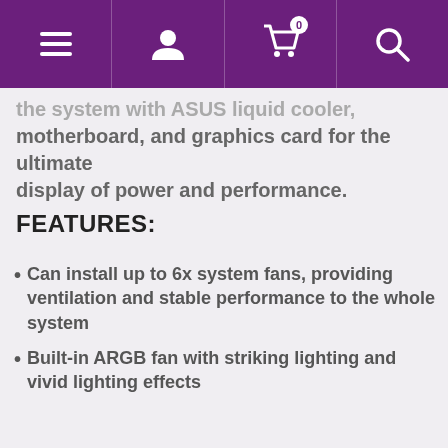Navigation bar with menu, user, cart (0), and search icons
the system with ASUS liquid cooler, motherboard, and graphics card for the ultimate display of power and performance.
FEATURES:
Can install up to 6x system fans, providing ventilation and stable performance to the whole system
Built-in ARGB fan with striking lighting and vivid lighting effects
Premium-grade 4mm thick tempered glass that guarantees window durability and viewing capability
The magnetic dust filter on top is designed to give users an easy un-installing and cleaning experience
Quickly control the fan colour and lighting...